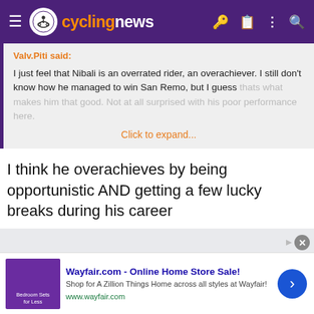cyclingnews
Valv.Piti said:
I just feel that Nibali is an overrated rider, an overachiever. I still don't know how he managed to win San Remo, but I guess thats what makes him that good. Not at all surprised with his poor performance here.
Click to expand...
I think he overachieves by being opportunistic AND getting a few lucky breaks during his career
[Figure (screenshot): Wayfair.com advertisement banner with bedroom furniture image]